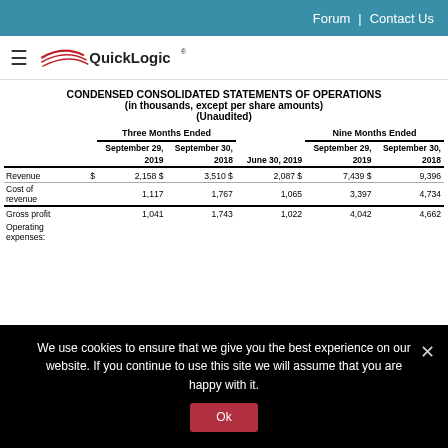Forum | Contact Us
[Figure (logo): QuickLogic logo with red swoosh graphic and hamburger menu icon]
CONDENSED CONSOLIDATED STATEMENTS OF OPERATIONS
(in thousands, except per share amounts)
(Unaudited)
|  | Three Months Ended |  |  | Nine Months Ended |  |
| --- | --- | --- | --- | --- | --- |
|  | September 29, 2019 | September 30, 2018 | June 30, 2019 | September 29, 2019 | September 30, 2018 |
| Revenue | $ 2,158 | $ 3,510 | $ 2,087 | $ 7,439 | $ 9,396 |
| Cost of revenue | 1,117 | 1,767 | 1,065 | 3,397 | 4,734 |
| Gross profit | 1,041 | 1,743 | 1,022 | 4,042 | 4,662 |
| Operating expenses: |  |  |  |  |  |
We use cookies to ensure that we give you the best experience on our website. If you continue to use this site we will assume that you are happy with it.